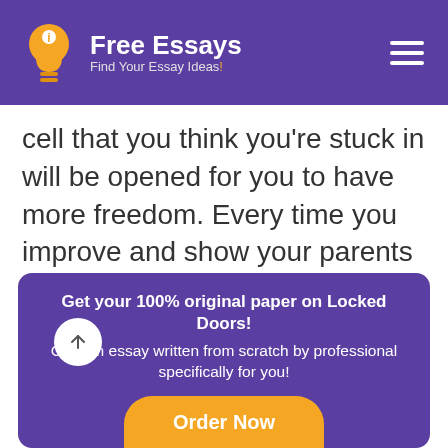Free Essays – Find Your Essay Ideas!
cell that you think you're stuck in will be opened for you to have more freedom. Every time you improve and show your parents you're responsible it will bring them closer to you and it will bring you closer to greater freedom and success.
Get your 100% original paper on Locked Doors! Custom essay written from scratch by professional specifically for you!
Order Now